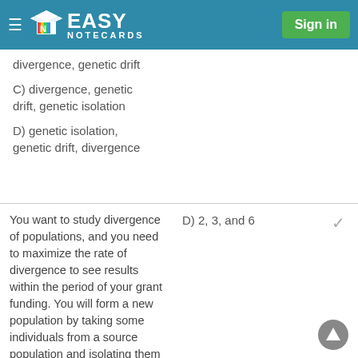Easy Notecards — Sign in
divergence, genetic drift
C) divergence, genetic drift, genetic isolation
D) genetic isolation, genetic drift, divergence
You want to study divergence of populations, and you need to maximize the rate of divergence to see results within the period of your grant funding. You will form a new population by taking some individuals from a source population and isolating them so the two
D) 2, 3, and 6